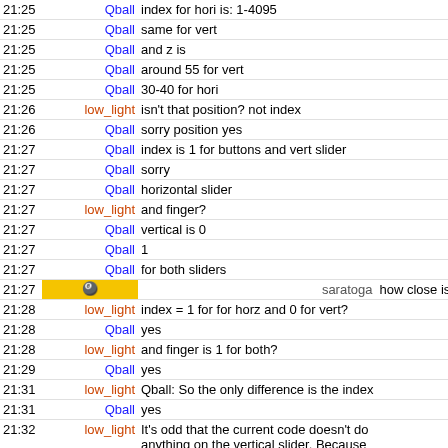| time | nick | message |
| --- | --- | --- |
| 21:25 | Qball | index for hori is: 1-4095 |
| 21:25 | Qball | same for vert |
| 21:25 | Qball | and z is |
| 21:25 | Qball | around 55 for vert |
| 21:25 | Qball | 30-40 for hori |
| 21:26 | low_light | isn't that position? not index |
| 21:26 | Qball | sorry position yes |
| 21:27 | Qball | index is 1 for buttons and vert slider |
| 21:27 | Qball | sorry |
| 21:27 | Qball | horizontal slider |
| 21:27 | low_light | and finger? |
| 21:27 | Qball | vertical is 0 |
| 21:27 | Qball | 1 |
| 21:27 | Qball | for both sliders |
| 21:27 | saratoga | how close is the phillips player to being supported? |
| 21:28 | low_light | index = 1 for for horz and 0 for vert? |
| 21:28 | Qball | yes |
| 21:28 | low_light | and finger is 1 for both? |
| 21:29 | Qball | yes |
| 21:31 | low_light | Qball: So the only difference is the index |
| 21:31 | Qball | yes |
| 21:32 | low_light | It's odd that the current code doesn't do anything on the vertical slider. Because apart from the index (which we do check) the packet looks identical. So the code wouldn't kno the differenc... |